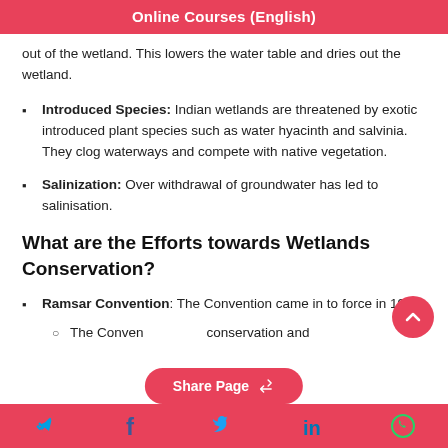Online Courses (English)
out of the wetland. This lowers the water table and dries out the wetland.
Introduced Species: Indian wetlands are threatened by exotic introduced plant species such as water hyacinth and salvinia. They clog waterways and compete with native vegetation.
Salinization: Over withdrawal of groundwater has led to salinisation.
What are the Efforts towards Wetlands Conservation?
Ramsar Convention: The Convention came in to force in 1975.
The Convention … conservation and
Share Page | Social media icons